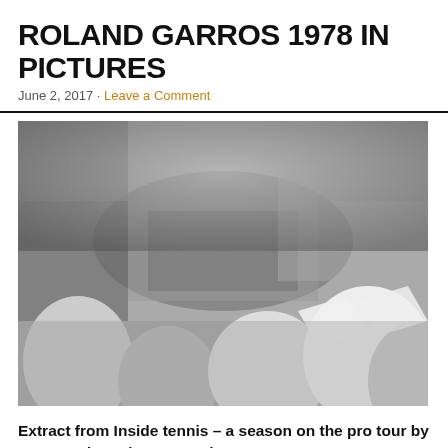ROLAND GARROS 1978 IN PICTURES
June 2, 2017 · Leave a Comment
[Figure (photo): Black and white photograph of Roland Garros 1978 showing a packed tennis stadium from a high angle, with spectators in the foreground holding papers/programs, and the clay court visible in the background with players on it.]
Extract from Inside tennis – a season on the pro tour by Peter Bodo and June Harrison: